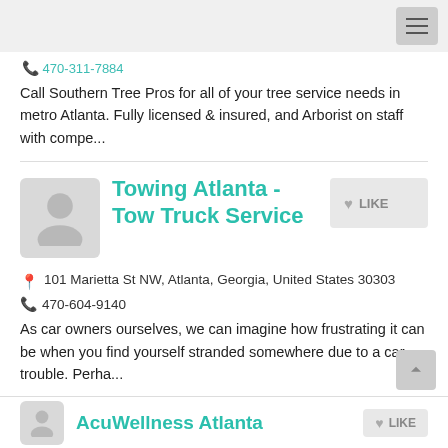Call Southern Tree Pros for all of your tree service needs in metro Atlanta. Fully licensed & insured, and Arborist on staff with compe...
Towing Atlanta - Tow Truck Service
101 Marietta St NW, Atlanta, Georgia, United States 30303
470-604-9140
As car owners ourselves, we can imagine how frustrating it can be when you find yourself stranded somewhere due to a car trouble. Perha...
AcuWellness Atlanta